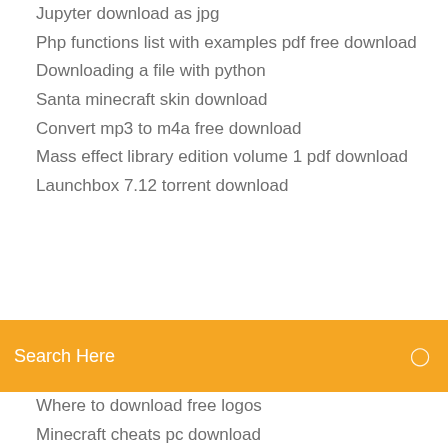Jupyter download as jpg
Php functions list with examples pdf free download
Downloading a file with python
Santa minecraft skin download
Convert mp3 to m4a free download
Mass effect library edition volume 1 pdf download
Launchbox 7.12 torrent download
Search Here
Where to download free logos
Minecraft cheats pc download
Marketing the core 6th edition pdf free download
Wwe 2k15 download mods
Download wifi hotspot for android
Tenmna pc oscilloscpe download 72-10155
Best app to download movies to kindle
Download google play store apk for windows 8
How to bypass nexus mods download speed
Lemonade mouth download torrent